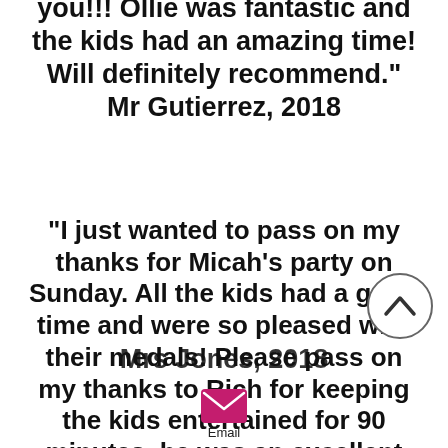you!!! Ollie was fantastic and the kids had an amazing time! Will definitely recommend." Mr Gutierrez, 2018
"I just wanted to pass on my thanks for Micah’s party on Sunday. All the kids had a great time and were so pleased with their medals! Please pass on my thanks to Rich for keeping the kids entertained for 90 minutes, he was an excellent coach and the kids though was great."
Mrs Jones, 2018
[Figure (other): Circular scroll-up navigation button with chevron/caret icon]
[Figure (other): Pink/magenta email envelope icon with label 'Email' below]